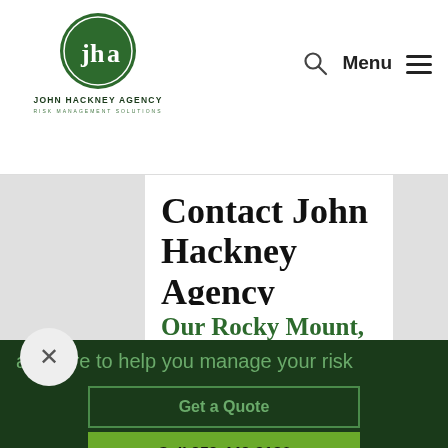[Figure (logo): John Hackney Agency circular green logo with 'jha' letters, Risk Management Solutions]
Menu
Contact John Hackney Agency
Our Rocky Mount,
are here to help you manage your risk
Get a Quote
Call 252-442-3186